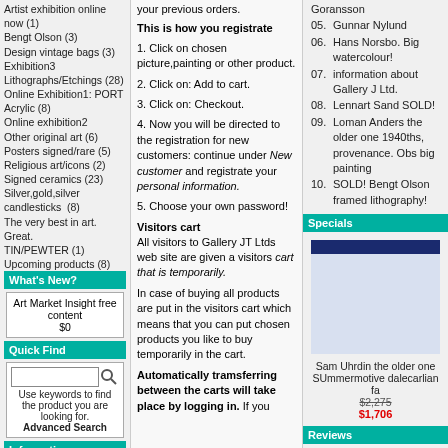Artist exhibition online now (1)
Bengt Olson (3)
Design vintage bags (3)
Exhibition3
Lithographs/Etchings (28)
Online Exhibition1: PORT Acrylic (8)
Online exhibition2
Other original art (6)
Posters signed/rare (5)
Religious art/icons (2)
Signed ceramics (23)
Silver,gold,silver candlesticks  (8)
The very best in art. Great.
TIN/PEWTER (1)
Upcoming products (8)
What's New?
Art Market Insight free content
$0
Quick Find
Use keywords to find the product you are looking for.
Advanced Search
Information
This is how you registrate
1. Click on chosen picture,painting or other product.
2. Click on: Add to cart.
3. Click on: Checkout.
4. Now you will be directed to the registration for new customers: continue under New customer and registrate your personal information.
5. Choose your own password!
Visitors cart
All visitors to Gallery JT Ltds web site are given a visitors cart that is temporarily.
In case of buying all products are put in the visitors cart which means that you can put chosen products you like to buy temporarily in the cart.
Automatically tramsferring between the carts will take place by logging in. If you
Goransson
05. Gunnar Nylund
06. Hans Norsbo. Big watercolour!
07. information about Gallery J Ltd.
08. Lennart Sand SOLD!
09. Loman Anders the older one 1940ths, provenance. Obs big painting
10. SOLD! Bengt Olson framed lithography!
Specials
[Figure (photo): Dark blue horizontal bar image representing a product photo for specials section]
Sam Uhrdin the older one SUmmermotive dalecarlian fa
$2,275
$1,706
Reviews
There are currently no product reviews